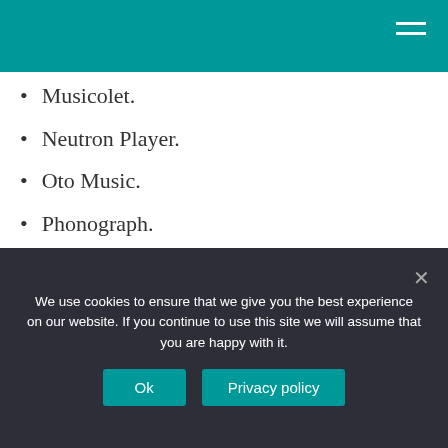Musicolet.
Neutron Player.
Oto Music.
Phonograph.
What’s the best free music player for Android?
Let’s look at the best free music player apps for Android first.
We use cookies to ensure that we give you the best experience on our website. If you continue to use this site we will assume that you are happy with it.